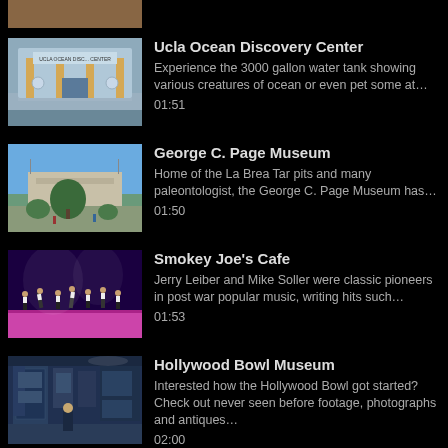[Figure (photo): Partial thumbnail at top, warm toned image, partially cropped]
Ucla Ocean Discovery Center
Experience the 3000 gallon water tank showing various creatures of ocean or even pet some at… 01:51
[Figure (photo): George C. Page Museum exterior with green landscaping and blue sky]
George C. Page Museum
Home of the La Brea Tar pits and many paleontologist, the George C. Page Museum has… 01:50
[Figure (photo): Smokey Joe's Cafe stage performance with dancers on purple-lit stage]
Smokey Joe's Cafe
Jerry Leiber and Mike Soller were classic pioneers in post war popular music, writing hits such… 01:53
[Figure (photo): Hollywood Bowl Museum interior with exhibits and visitors]
Hollywood Bowl Museum
Interested how the Hollywood Bowl got started? Check out never seen before footage, photographs and antiques… 02:00